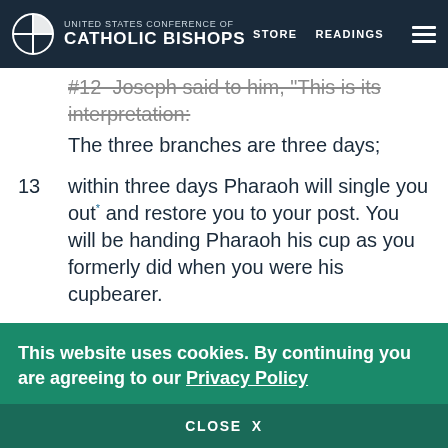United States Conference of Catholic Bishops — STORE  READINGS
#12 Joseph said to him, 'This is its interpretation: The three branches are three days;
13  within three days Pharaoh will single you out* and restore you to your post. You will be handing Pharaoh his cup as you formerly did when you were his cupbearer.
14  Only think of me when all is well with you, and please do me the great favor of mentioning me to Pharaoh, to get me out of this place.
15  The truth is that I was kidnapped from the land of the Hebrews, and here too I have done nothing…
This website uses cookies. By continuing you are agreeing to our Privacy Policy
CLOSE  X